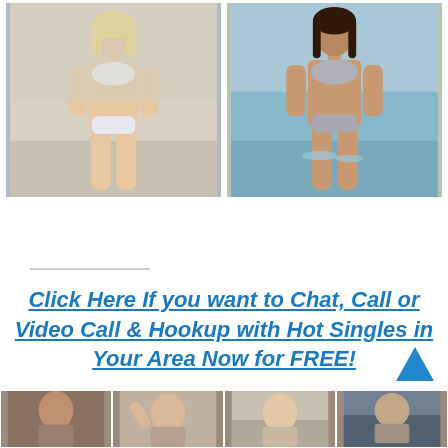[Figure (photo): Two photos side by side of women in bikinis. Left: blonde woman in white bikini standing outdoors. Right: dark-haired woman in silver/grey bikini standing in ocean water.]
Click Here If you want to Chat, Call or Video Call & Hookup with Hot Singles in Your Area Now for FREE!
[Figure (photo): Four small thumbnail photos of women at the bottom of the page.]